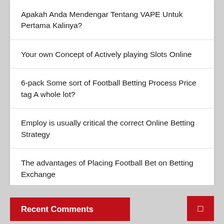Apakah Anda Mendengar Tentang VAPE Untuk Pertama Kalinya?
Your own Concept of Actively playing Slots Online
6-pack Some sort of Football Betting Process Price tag A whole lot?
Employ is usually critical the correct Online Betting Strategy
The advantages of Placing Football Bet on Betting Exchange
Recent Comments